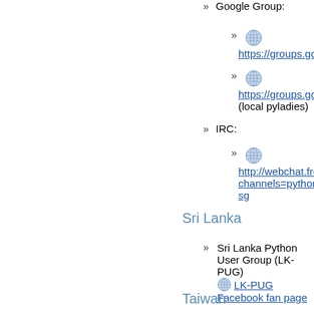» Google Group:
» [globe icon] https://groups.goog...
» [globe icon] https://groups.goog... (local pyladies)
» IRC:
» [globe icon] http://webchat.freer... channels=python-sg
Sri Lanka
» Sri Lanka Python User Group (LK-PUG) [globe] LK-PUG Facebook fan page
Taiwan